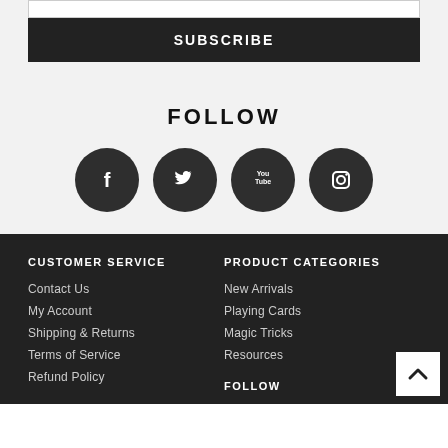[Figure (other): Subscribe button and input field area at top]
FOLLOW
[Figure (infographic): Four social media icons: Facebook, Twitter, YouTube, Instagram as dark circles]
CUSTOMER SERVICE
Contact Us
My Account
Shipping & Returns
Terms of Service
Refund Policy
PRODUCT CATEGORIES
New Arrivals
Playing Cards
Magic Tricks
Resources
FOLLOW